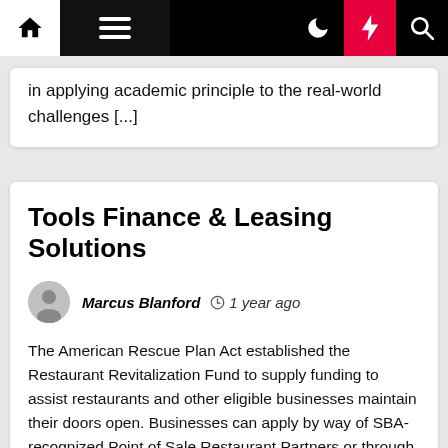Navigation bar with home, menu, moon, bolt, and search icons
in applying academic principle to the real-world challenges [...]
Tools Finance & Leasing Solutions
Marcus Blanford  1 year ago
The American Rescue Plan Act established the Restaurant Revitalization Fund to supply funding to assist restaurants and other eligible businesses maintain their doors open. Businesses can apply by way of SBA-recognized Point of Sale Restaurant Partners or through an SBA online